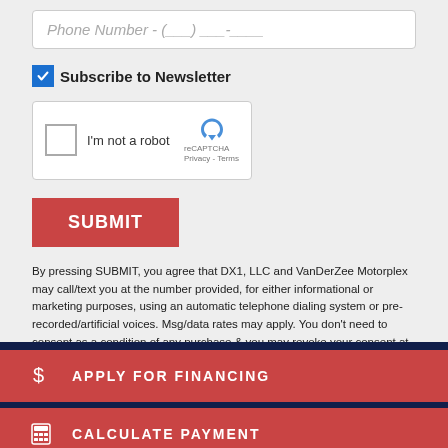Phone Number - ( ) __ - ____
Subscribe to Newsletter
[Figure (screenshot): reCAPTCHA widget with checkbox and logo: 'I'm not a robot', reCAPTCHA, Privacy - Terms]
SUBMIT
By pressing SUBMIT, you agree that DX1, LLC and VanDerZee Motorplex may call/text you at the number provided, for either informational or marketing purposes, using an automatic telephone dialing system or pre-recorded/artificial voices. Msg/data rates may apply. You don't need to consent as a condition of any purchase & you may revoke your consent at any time. You also agree to our Privacy Statement & Terms of Use.
$ APPLY FOR FINANCING
CALCULATE PAYMENT